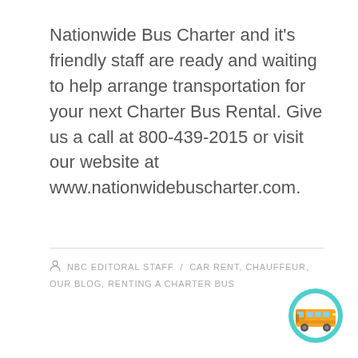Nationwide Bus Charter and it's friendly staff are ready and waiting to help arrange transportation for your next Charter Bus Rental. Give us a call at 800-439-2015 or visit our website at www.nationwidebuscharter.com.
NBC EDITORAL STAFF / CAR RENT, CHAUFFEUR, OUR BLOG, RENTING A CHARTER BUS
[Figure (illustration): Circular badge with cyan/turquoise border containing an orange school bus illustration]